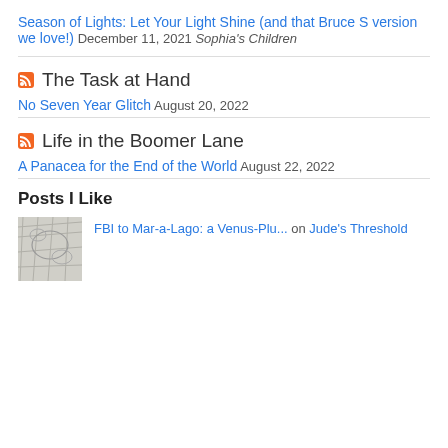Season of Lights: Let Your Light Shine (and that Bruce S version we love!) December 11, 2021 Sophia's Children
The Task at Hand
No Seven Year Glitch August 20, 2022
Life in the Boomer Lane
A Panacea for the End of the World August 22, 2022
Posts I Like
FBI to Mar-a-Lago: a Venus-Plu... on Jude's Threshold